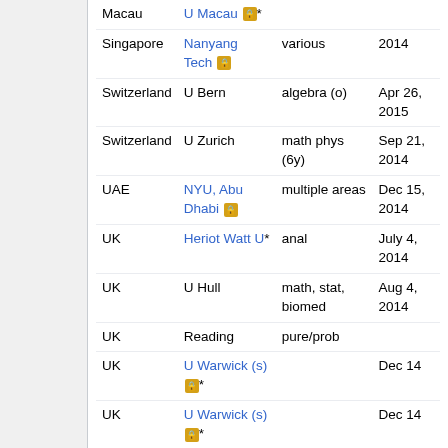| Country | Institution | Areas | Date |
| --- | --- | --- | --- |
| Macau | U Macau 🔒* |  |  |
| Singapore | Nanyang Tech 🔒 | various | 2014 |
| Switzerland | U Bern | algebra (o) | Apr 26, 2015 |
| Switzerland | U Zurich | math phys (6y) | Sep 21, 2014 |
| UAE | NYU, Abu Dhabi 🔒 | multiple areas | Dec 15, 2014 |
| UK | Heriot Watt U* | anal | July 4, 2014 |
| UK | U Hull | math, stat, biomed | Aug 4, 2014 |
| UK | Reading | pure/prob |  |
| UK | U Warwick (s) 🔒* |  | Dec 14 |
| UK | U Warwick (s) 🔒* |  | Dec 14 |
Temporary positions
| Country | Institution | Areas | Type |
| --- | --- | --- | --- |